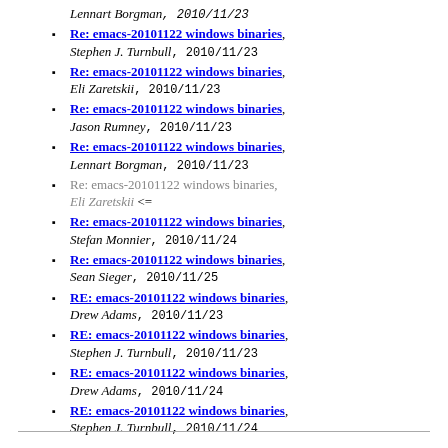Lennart Borgman, 2010/11/23
Re: emacs-20101122 windows binaries, Stephen J. Turnbull, 2010/11/23
Re: emacs-20101122 windows binaries, Eli Zaretskii, 2010/11/23
Re: emacs-20101122 windows binaries, Jason Rumney, 2010/11/23
Re: emacs-20101122 windows binaries, Lennart Borgman, 2010/11/23
Re: emacs-20101122 windows binaries, Eli Zaretskii <=
Re: emacs-20101122 windows binaries, Stefan Monnier, 2010/11/24
Re: emacs-20101122 windows binaries, Sean Sieger, 2010/11/25
RE: emacs-20101122 windows binaries, Drew Adams, 2010/11/23
RE: emacs-20101122 windows binaries, Stephen J. Turnbull, 2010/11/23
RE: emacs-20101122 windows binaries, Drew Adams, 2010/11/24
RE: emacs-20101122 windows binaries, Stephen J. Turnbull, 2010/11/24